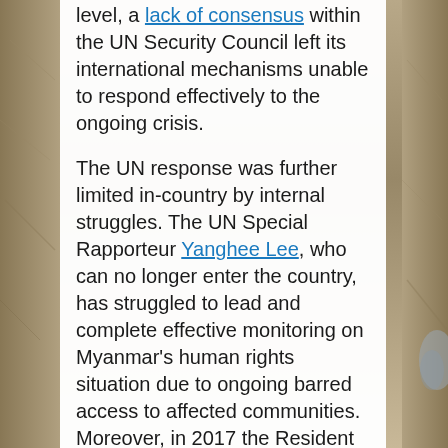level, a lack of consensus within the UN Security Council left its international mechanisms unable to respond effectively to the ongoing crisis.

The UN response was further limited in-country by internal struggles. The UN Special Rapporteur Yanghee Lee, who can no longer enter the country, has struggled to lead and complete effective monitoring on Myanmar's human rights situation due to ongoing barred access to affected communities. Moreover, in 2017 the Resident Coordinator of the UN Country Team in Myanmar was rotated out after the state government raised complaints with regards to suspected bias. Although a UN Special Envoy has since been deployed and the Security Council delegation visit to Myanmar conducted in May 2018 went ahead, access is still limited with most negotiations held in the capital Naypyidaw, far away